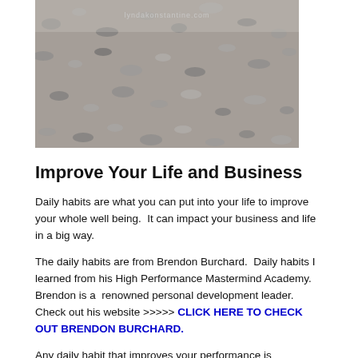[Figure (photo): Black and white photo of a rocky/pebbly ground or river bed surface, with the watermark text 'lyndakonstantine.com' overlaid near the top center.]
Improve Your Life and Business
Daily habits are what you can put into your life to improve your whole well being.  It can impact your business and life in a big way.
The daily habits are from Brendon Burchard.  Daily habits I learned from his High Performance Mastermind Academy.  Brendon is a  renowned personal development leader.  Check out his website >>>>> CLICK HERE TO CHECK OUT BRENDON BURCHARD.
Any daily habit that improves your performance is welcomed and if it spills into your personal life as well, thats even better.  When I did went through this training it really got me thinking about